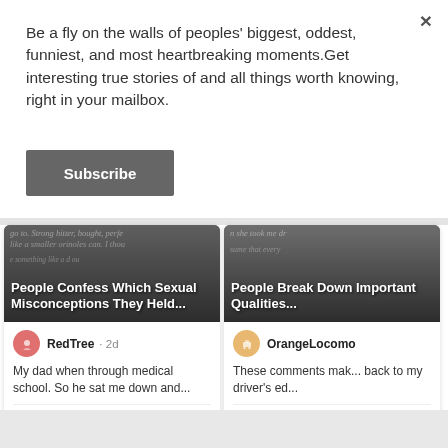Be a fly on the walls of peoples' biggest, oddest, funniest, and most heartbreaking moments.Get interesting true stories of and all things worth knowing, right in your mailbox.
×
Subscribe
[Figure (screenshot): Card showing article: People Confess Which Sexual Misconceptions They Held... with comment by RedTree 2d: My dad when through medical school. So he sat me down and... Top Comment, 3 likes]
[Figure (screenshot): Card showing article: People Break Down Important Qualities... with comment by OrangeLocomo...: These comments mak... back to my driver's ed... Top Comment]